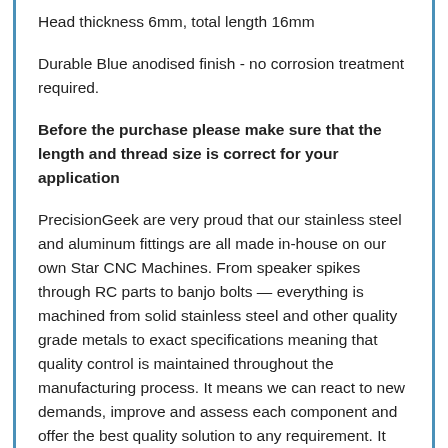Head thickness 6mm, total length 16mm
Durable Blue anodised finish - no corrosion treatment required.
Before the purchase please make sure that the length and thread size is correct for your application
PrecisionGeek are very proud that our stainless steel and aluminum fittings are all made in-house on our own Star CNC Machines. From speaker spikes through RC parts to banjo bolts — everything is machined from solid stainless steel and other quality grade metals to exact specifications meaning that quality control is maintained throughout the manufacturing process. It means we can react to new demands, improve and assess each component and offer the best quality solution to any requirement. It also means that we can react to new products